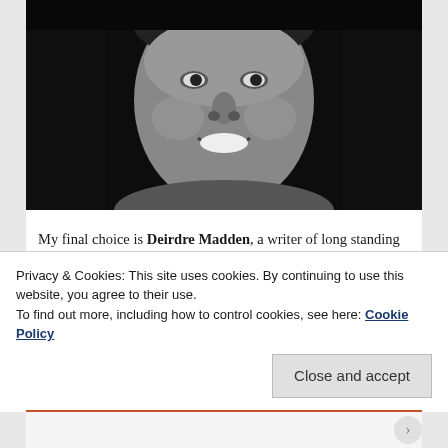[Figure (photo): Black and white portrait photo of a smiling person, cropped to show face and upper shoulders against a dark background]
My final choice is Deirdre Madden, a writer of long standing whose quietly elegant prose deserves to be ranked alongside the likes of Sebastian Barry, William Trevor and Colm Tóibin. She writes slim, understated novels in which the Troubles are often present in one form or another. In Molly Fox's Birthday, the eponymous actor is spending her Midsummer's Day birthday in New York while the playwright, to whom she has lent her gloriously
Privacy & Cookies: This site uses cookies. By continuing to use this website, you agree to their use.
To find out more, including how to control cookies, see here: Cookie Policy
Close and accept